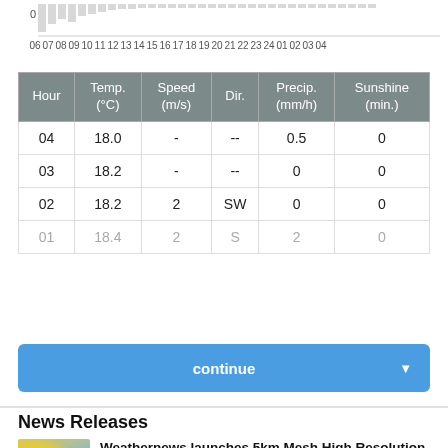[Figure (continuous-plot): Partial hourly weather chart showing time axis from 06 to 04 with value 0 marked on y-axis. Gray bar chart partially visible at top of page.]
| Hour | Temp.
(°C) | Speed
(m/s) | Dir. | Precip.
(mm/h) | Sunshine
(min.) |
| --- | --- | --- | --- | --- | --- |
| 04 | 18.0 | - | -- | 0.5 | 0 |
| 03 | 18.2 | - | -- | 0 | 0 |
| 02 | 18.2 | 2 | SW | 0 | 0 |
| 01 | 18.4 | 2 | S | 2 | 0 |
continue
News Releases
Weathernews launches 5km Mesh High Resolution World Weather Forecast Service
Tue, 14 Dec 2021 10:17:39 +0000